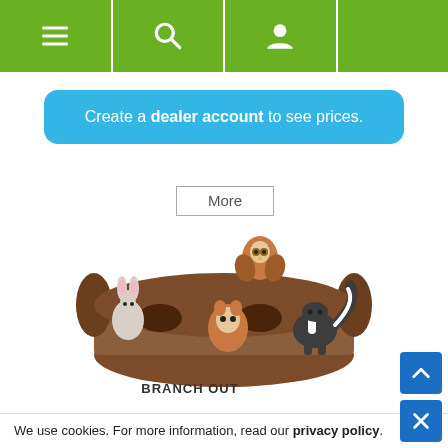Navigation bar with menu, search, and user icons
Create a dealer account to see prices.
More
[Figure (photo): Plush woodland animal dog toy set with a log hide-and-seek toy. Animals include an owl, rabbit, squirrel, and skunk.]
BRANCH OUT
We use cookies. For more information, read our privacy policy.